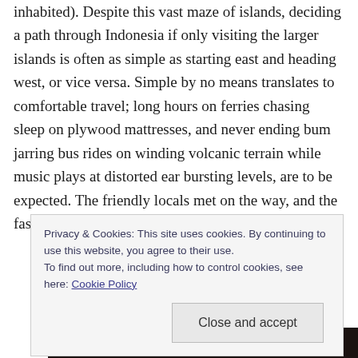inhabited). Despite this vast maze of islands, deciding a path through Indonesia if only visiting the larger islands is often as simple as starting east and heading west, or vice versa. Simple by no means translates to comfortable travel; long hours on ferries chasing sleep on plywood mattresses, and never ending bum jarring bus rides on winding volcanic terrain while music plays at distorted ear bursting levels, are to be expected. The friendly locals met on the way, and the fascinating volcanic surrounds, make the hard
Privacy & Cookies: This site uses cookies. By continuing to use this website, you agree to their use.
To find out more, including how to control cookies, see here: Cookie Policy
[Figure (photo): Dark photograph at the bottom of the page, likely a landscape or volcanic terrain scene]